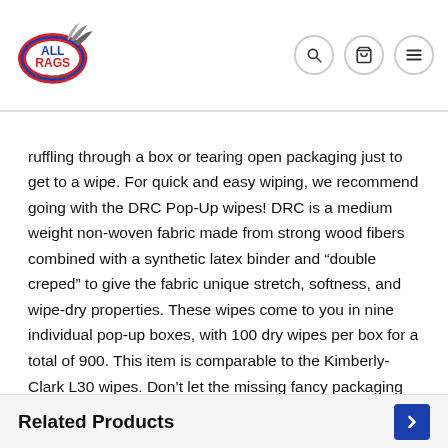All Rags — header with logo, search, cart, and menu icons
ruffling through a box or tearing open packaging just to get to a wipe. For quick and easy wiping, we recommend going with the DRC Pop-Up wipes! DRC is a medium weight non-woven fabric made from strong wood fibers combined with a synthetic latex binder and “double creped” to give the fabric unique stretch, softness, and wipe-dry properties. These wipes come to you in nine individual pop-up boxes, with 100 dry wipes per box for a total of 900. This item is comparable to the Kimberly-Clark L30 wipes. Don’t let the missing fancy packaging fool you, these DRC wipes will hold their own in the toughest of spills!
Related Products